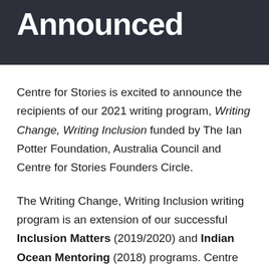Announced
Centre for Stories is excited to announce the recipients of our 2021 writing program, Writing Change, Writing Inclusion funded by The Ian Potter Foundation, Australia Council and Centre for Stories Founders Circle.
The Writing Change, Writing Inclusion writing program is an extension of our successful Inclusion Matters (2019/2020) and Indian Ocean Mentoring (2018) programs. Centre for